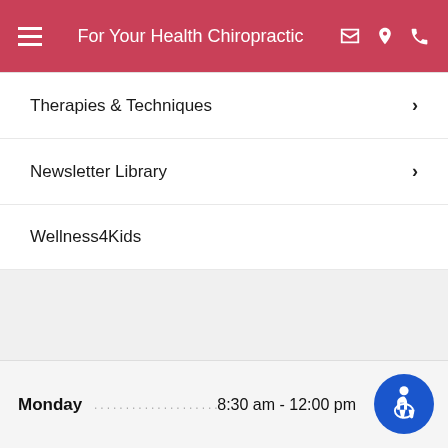For Your Health Chiropractic
Therapies & Techniques
Newsletter Library
Wellness4Kids
HOURS OF OPERATION
Our Regular Schedule
Monday  ....................................  8:30 am - 12:00 pm